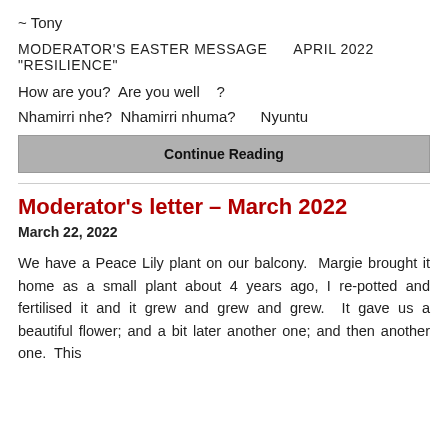~ Tony
MODERATOR'S EASTER MESSAGE      APRIL 2022
"RESILIENCE"
How are you?  Are you well   ?
Nhamirri nhe?  Nhamirri nhuma?     Nyuntu
Continue Reading
Moderator's letter – March 2022
March 22, 2022
We have a Peace Lily plant on our balcony.  Margie brought it home as a small plant about 4 years ago, I re-potted and fertilised it and it grew and grew and grew.  It gave us a beautiful flower; and a bit later another one; and then another one.  This